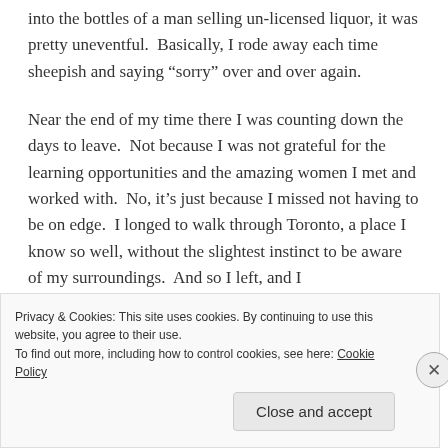into the bottles of a man selling un-licensed liquor, it was pretty uneventful.  Basically, I rode away each time sheepish and saying “sorry” over and over again.
Near the end of my time there I was counting down the days to leave.  Not because I was not grateful for the learning opportunities and the amazing women I met and worked with.  No, it’s just because I missed not having to be on edge.  I longed to walk through Toronto, a place I know so well, without the slightest instinct to be aware of my surroundings.  And so I left, and I
Privacy & Cookies: This site uses cookies. By continuing to use this website, you agree to their use.
To find out more, including how to control cookies, see here: Cookie Policy
Close and accept